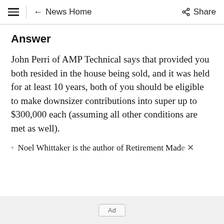≡  ← News Home  Share
Answer
John Perri of AMP Technical says that provided you both resided in the house being sold, and it was held for at least 10 years, both of you should be eligible to make downsizer contributions into super up to $300,000 each (assuming all other conditions are met as well).
Noel Whittaker is the author of Retirement Made ×